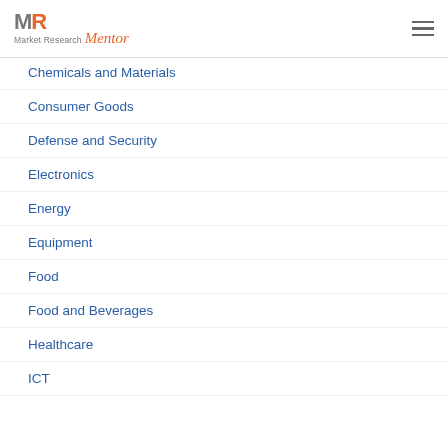[Figure (logo): Market Research Mentor logo with MR initials and stylized text]
Chemicals and Materials
Consumer Goods
Defense and Security
Electronics
Energy
Equipment
Food
Food and Beverages
Healthcare
ICT